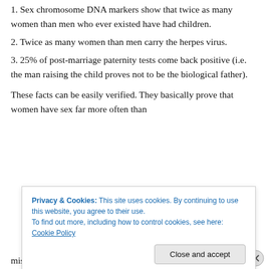1. Sex chromosome DNA markers show that twice as many women than men who ever existed have had children.
2. Twice as many women than men carry the herpes virus.
3. 25% of post-marriage paternity tests come back positive (i.e. the man raising the child proves not to be the biological father).
These facts can be easily verified. They basically prove that women have sex far more often than
Privacy & Cookies: This site uses cookies. By continuing to use this website, you agree to their use.
To find out more, including how to control cookies, see here: Cookie Policy
misrepresentation of the figures occurred. The